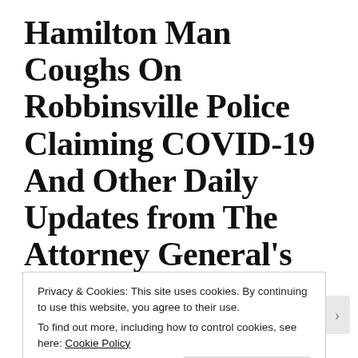Hamilton Man Coughs On Robbinsville Police Claiming COVID-19 And Other Daily Updates from The Attorney General's Office
As Holiday Weekend Begins, Attorney
Privacy & Cookies: This site uses cookies. By continuing to use this website, you agree to their use.
To find out more, including how to control cookies, see here: Cookie Policy